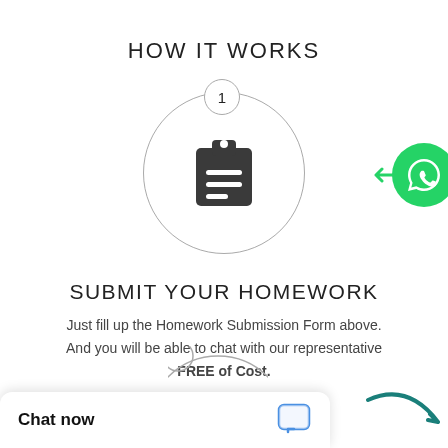HOW IT WORKS
[Figure (illustration): Large circle with a step number '1' in a smaller circle at the top-left, containing a clipboard icon in dark gray. A green WhatsApp button appears to the right edge.]
SUBMIT YOUR HOMEWORK
Just fill up the Homework Submission Form above. And you will be able to chat with our representative FREE of Cost.
[Figure (illustration): Partial circle with step number 2, partially visible at the bottom. Teal curved arrow at bottom right.]
Chat now